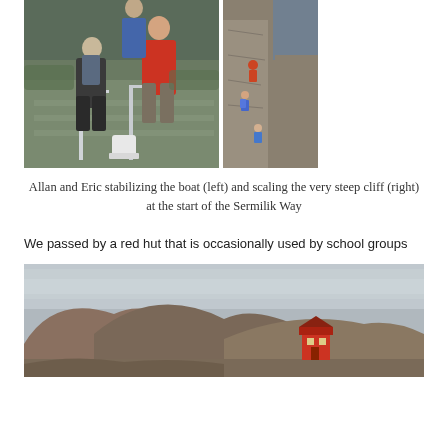[Figure (photo): Two-panel photo: left panel shows Allan and Eric on rocky steps stabilizing a boat with metal railings; right panel shows people scaling a very steep cliff face with ocean visible in background]
Allan and Eric stabilizing the boat (left) and scaling the very steep cliff (right) at the start of the Sermilik Way
We passed by a red hut that is occasionally used by school groups
[Figure (photo): Landscape photo showing rocky brown hills with a small red hut/building visible at the base of the cliffs under an overcast grey sky]